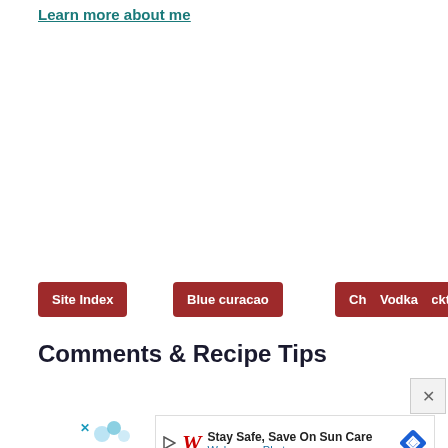Learn more about me
Site Index
Blue curacao
Christmas cocktails
Vodka
Comments & Recipe Tips
Share a tip or comment!
[Figure (screenshot): Walgreens advertisement: Stay Safe, Save On Sun Care - Walgreens Photo, with play button, Walgreens cursive logo, and diamond navigation icon. Has a close X button overlay.]